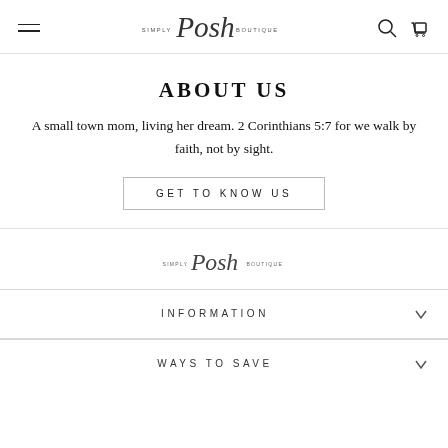Simply Posh Boutique — navigation header with hamburger menu, logo, search and cart icons
ABOUT US
A small town mom, living her dream. 2 Corinthians 5:7 for we walk by faith, not by sight.
GET TO KNOW US
[Figure (logo): Simply Posh Boutique logo in footer]
INFORMATION
WAYS TO SAVE